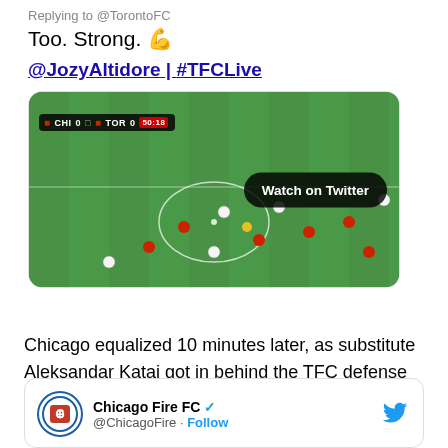Replying to @TorontoFC
Too. Strong. 💪
@JozyAltidore | #TFCLive
[Figure (screenshot): Soccer match video thumbnail showing a soccer field with players, scoreboard showing CHI 0 TOR 0 50:18, and a 'Watch on Twitter' button overlay]
Chicago equalized 10 minutes later, as substitute Aleksandar Katai got in behind the TFC defense and shot one across goal and into the bottom right corner.
Chicago Fire FC @ChicagoFire · Follow